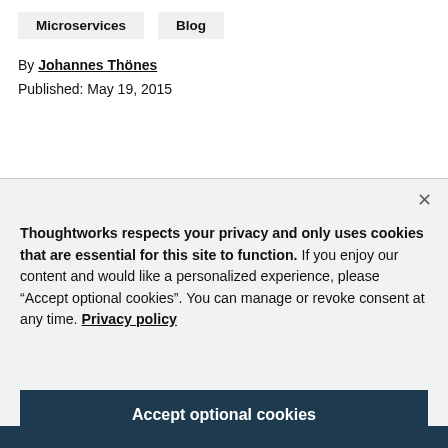Microservices
Blog
By Johannes Thönes
Published: May 19, 2015
Thoughtworks respects your privacy and only uses cookies that are essential for this site to function. If you enjoy our content and would like a personalized experience, please “Accept optional cookies”. You can manage or revoke consent at any time. Privacy policy
Accept optional cookies